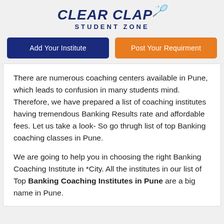[Figure (logo): Clear Clap Student Zone logo with badminton shuttlecock icon, dark navy blue text on light grey background]
Add Your Institute
Post Your Requirment
There are numerous coaching centers available in Pune, which leads to confusion in many students mind. Therefore, we have prepared a list of coaching institutes having tremendous Banking Results rate and affordable fees. Let us take a look- So go thrugh list of top Banking coaching classes in Pune.
We are going to help you in choosing the right Banking Coaching Institute in *City. All the institutes in our list of Top Banking Coaching Institutes in Pune are a big name in Pune.